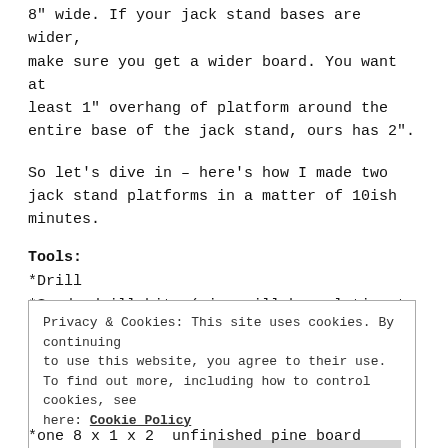8" wide. If your jack stand bases are wider, make sure you get a wider board. You want at least 1" overhang of platform around the entire base of the jack stand, ours has 2".
So let's dive in – here's how I made two jack stand platforms in a matter of 10ish minutes.
Tools:
*Drill
*Spade drill bits (size will be relative to your screws, I used 3/4")
Privacy & Cookies: This site uses cookies. By continuing to use this website, you agree to their use. To find out more, including how to control cookies, see here: Cookie Policy
*one 8 x 1 x 2 unfinished pine board